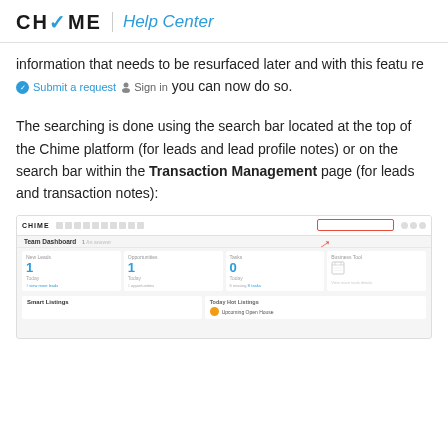CHIME Help Center
information that needs to be resurfaced later and with this feature you can now do so.
The searching is done using the search bar located at the top of the Chime platform (for leads and lead profile notes) or on the search bar within the Transaction Management page (for leads and transaction notes):
[Figure (screenshot): Screenshot of the Chime platform dashboard showing the Team Dashboard with sections for New Leads, Opportunities, Tasks, and Business Tool. A red rectangle highlights the search bar at the top right, with a red arrow pointing to it. The bottom section shows Smart Listings and Today Hot Listings with an 'Upcoming Open House' item.]